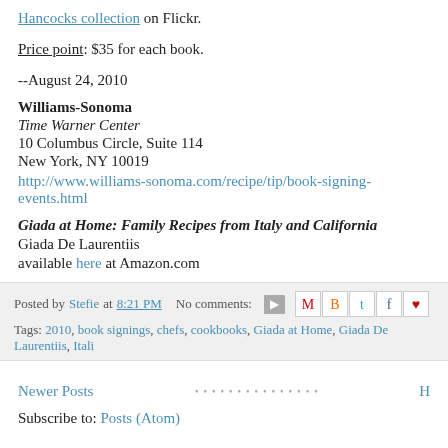Hancocks collection on Flickr.
Price point: $35 for each book.
--August 24, 2010
Williams-Sonoma
Time Warner Center
10 Columbus Circle, Suite 114
New York, NY 10019
http://www.williams-sonoma.com/recipe/tip/book-signing-events.html
Giada at Home: Family Recipes from Italy and California
Giada De Laurentiis
available here at Amazon.com
Posted by Stefie at 8:21 PM   No comments:
Tags: 2010, book signings, chefs, cookbooks, Giada at Home, Giada De Laurentiis, Italian
Newer Posts
Subscribe to: Posts (Atom)